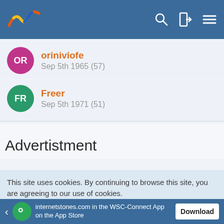WSC / internetstones.com header with logo and navigation icons
oriniviofe
Sep 5th 1965 (57)
Freer
Sep 5th 1971 (51)
Advertistment
This site uses cookies. By continuing to browse this site, you are agreeing to our use of cookies.
More Details  Close
internetstones.com in the WSC-Connect App on the App Store  Download